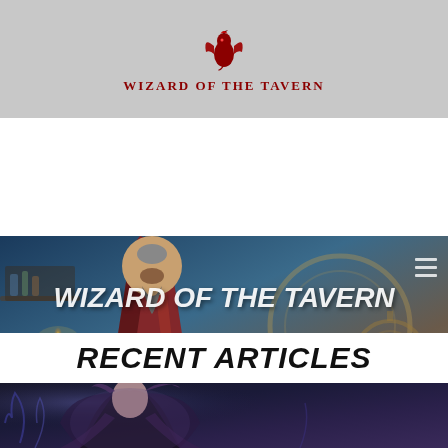[Figure (logo): Wizard Of The Tavern logo: a stylized dragon/wizard creature icon in dark red above the text 'WIZARD OF THE TAVERN' in dark red serif small caps lettering, on a gray background]
[Figure (illustration): Hero banner image: A robed wizard figure holding books, flanked by candles, with gears and mechanical elements in the background. Blue and warm tones. Text 'WIZARD OF THE TAVERN' in large bold italic white letters at top, and 'TRANSFORM HOW YOU PLAY' in smaller bold white uppercase letters in the middle]
RECENT ARTICLES
[Figure (illustration): Bottom article image: Dark fantasy illustration showing a female figure in dark/purple tones, partially visible as the image is cropped]